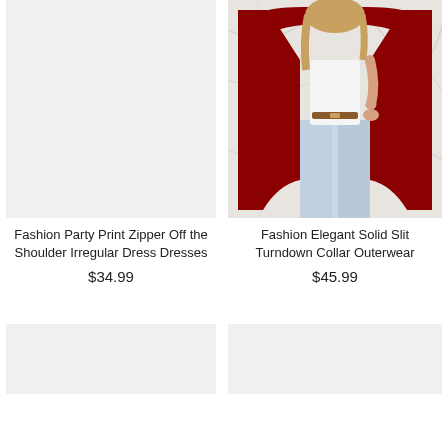[Figure (photo): Light gray placeholder image for Fashion Party Print Zipper Off the Shoulder Irregular Dress Dresses product]
Fashion Party Print Zipper Off the Shoulder Irregular Dress Dresses
$34.99
[Figure (photo): Photo of a woman wearing a red long open-front cardigan coat with slit, white top, jeans, on a marble background]
Fashion Elegant Solid Slit Turndown Collar Outerwear
$45.99
[Figure (photo): Light gray placeholder image for a product in the bottom left]
[Figure (photo): Light gray placeholder image for a product in the bottom right]